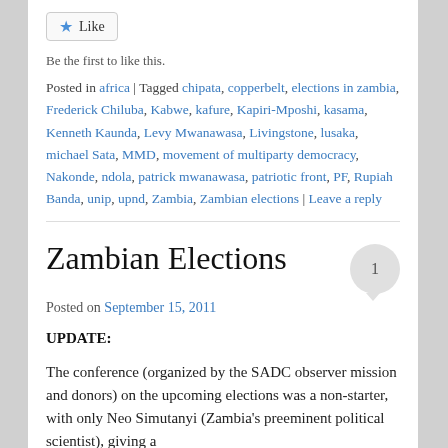[Figure (other): Like button with blue star icon and border]
Be the first to like this.
Posted in africa | Tagged chipata, copperbelt, elections in zambia, Frederick Chiluba, Kabwe, kafure, Kapiri-Mposhi, kasama, Kenneth Kaunda, Levy Mwanawasa, Livingstone, lusaka, michael Sata, MMD, movement of multiparty democracy, Nakonde, ndola, patrick mwanawasa, patriotic front, PF, Rupiah Banda, unip, upnd, Zambia, Zambian elections | Leave a reply
Zambian Elections
Posted on September 15, 2011
UPDATE:
The conference (organized by the SADC observer mission and donors) on the upcoming elections was a non-starter, with only Neo Simutanyi (Zambia's preeminent political scientist), giving a